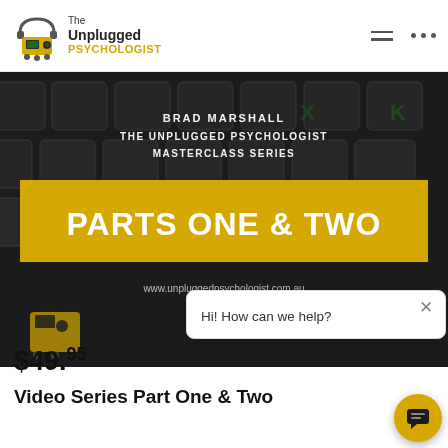[Figure (logo): The Unplugged Psychologist logo with yellow robot/game console icon and text]
[Figure (photo): Dark keyboard background image with white text 'BRAD MARSHALL / THE UNPLUGGED PSYCHOLOGIST / MASTERCLASS SERIES' and a yellow banner reading 'PARTS ONE & TWO', URL www.unpluggedpsychologist.com.au at bottom]
Hi! How can we help?
$49.95
Video Series Part One & Two